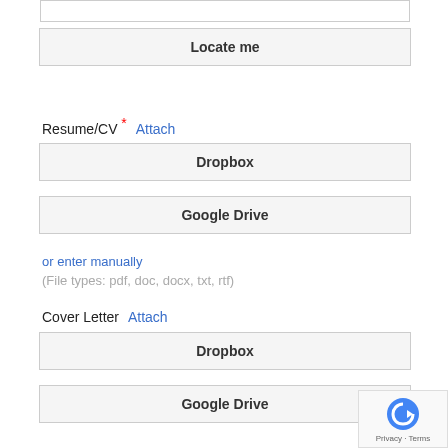[Figure (screenshot): Input field bar at the top (partial, cropped)]
Locate me
Resume/CV * Attach
Dropbox
Google Drive
or enter manually
(File types: pdf, doc, docx, txt, rtf)
Cover Letter  Attach
Dropbox
Google Drive